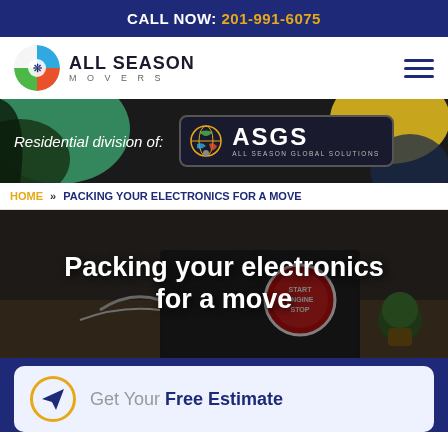CALL NOW: 201-991-6075
[Figure (logo): All Season Movers logo with circular icon showing seasonal imagery and hamburger menu icon]
[Figure (illustration): ASGS All Season Global Solutions banner with colorful background patches and badge logo. Text: Residential division of: ASGS All Season Global Solutions]
HOME » PACKING YOUR ELECTRONICS FOR A MOVE
[Figure (photo): Hero image of a laptop on a desk with a circular sticker reading START ENGINE STOP, with overlaid white text: Packing your electronics for a move]
Packing your electronics for a move
Get Your Free Estimate